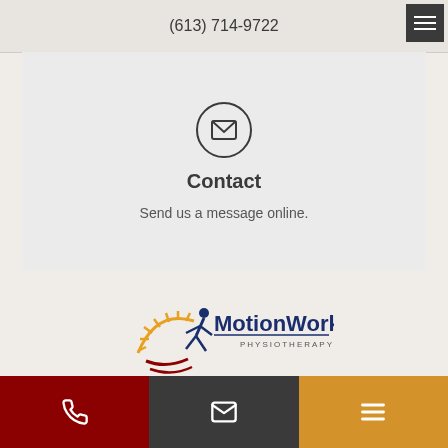(613) 714-9722
[Figure (infographic): Envelope icon inside a circle, representing contact/email]
Contact
Send us a message online.
[Figure (logo): MotionWorks Physiotherapy logo with stylized figure and sun rays in gold, red and blue]
Phone icon | Mail icon | Menu icon